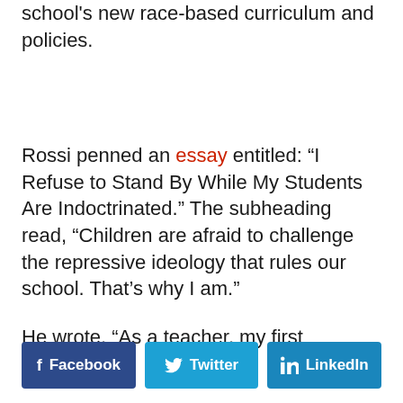school's new race-based curriculum and policies.
Rossi penned an essay entitled: “I Refuse to Stand By While My Students Are Indoctrinated.” The subheading read, “Children are afraid to challenge the repressive ideology that rules our school. That’s why I am.”
He wrote, “As a teacher, my first obligation
[Figure (infographic): Social share buttons: Facebook (dark blue), Twitter (light blue), LinkedIn (blue)]